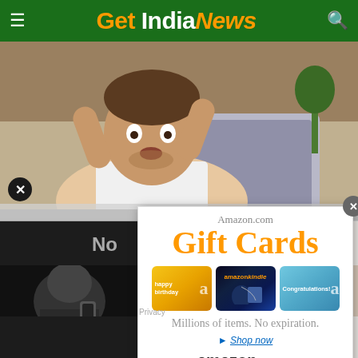Get India News
[Figure (photo): Man with hands on head looking stressed, sitting in front of a laptop]
Powered By VDO.AI
[Figure (infographic): Amazon.com Gift Cards advertisement popup. Shows 'Amazon.com Gift Cards' in large orange text, three gift card designs (happy birthday, amazon kindle, Congratulations), tagline 'Millions of items. No expiration.' with Shop now link and amazon.com logo at bottom.]
Privacy